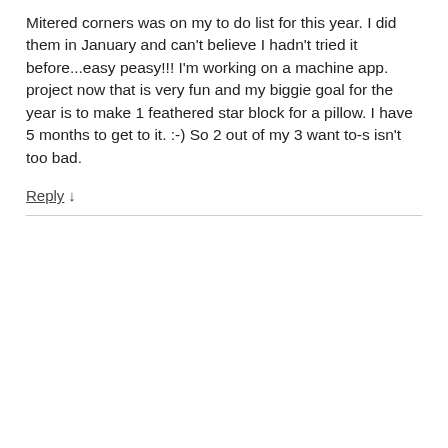Mitered corners was on my to do list for this year. I did them in January and can't believe I hadn't tried it before...easy peasy!!! I'm working on a machine app. project now that is very fun and my biggie goal for the year is to make 1 feathered star block for a pillow. I have 5 months to get to it. :-) So 2 out of my 3 want to-s isn't too bad.
Reply ↓